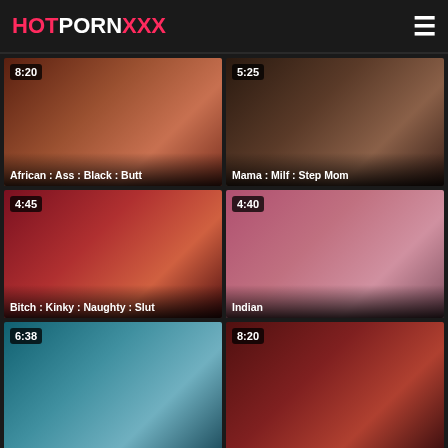HOTPORNXXX
[Figure (screenshot): Video thumbnail 1 with duration 8:20, title: African : Ass : Black : Butt]
[Figure (screenshot): Video thumbnail 2 with duration 5:25, title: Mama : Milf : Step Mom]
[Figure (screenshot): Video thumbnail 3 with duration 4:45, title: Bitch : Kinky : Naughty : Slut]
[Figure (screenshot): Video thumbnail 4 with duration 4:40, title: Indian]
[Figure (screenshot): Video thumbnail 5 with duration 6:38, partially visible]
[Figure (screenshot): Video thumbnail 6 with duration 8:20, partially visible]